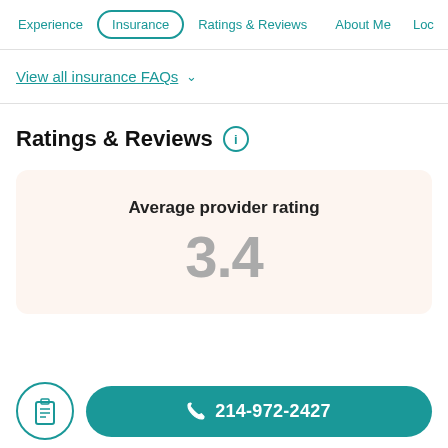Experience | Insurance | Ratings & Reviews | About Me | Loc…
View all insurance FAQs ∨
Ratings & Reviews ⓘ
Average provider rating
3.4
📋  214-972-2427